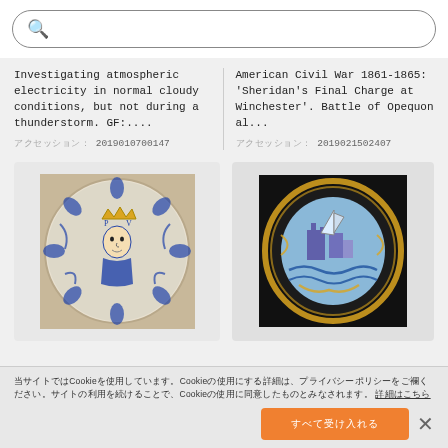[Figure (screenshot): Search bar with magnifying glass icon and placeholder text in Japanese/CJK characters]
Investigating atmospheric electricity in normal cloudy conditions, but not during a thunderstorm. GF:....
アクセッション: 2019010700147
American Civil War 1861-1865: 'Sheridan's Final Charge at Winchester'. Battle of Opequon al...
アクセッション: 2019021502407
[Figure (photo): Decorative ceramic plate with royal portrait and floral motifs in blue and white]
[Figure (photo): Decorative ceramic plate with sailing ship scene in blue, yellow and white on dark background]
当サイトではCookieを使用しています。Cookieの使用に関する詳細は、プライバシーポリシーをご覧ください。サイトの利用を続けることで、Cookieの使用に同意したものとみなされます。 詳細はこちら